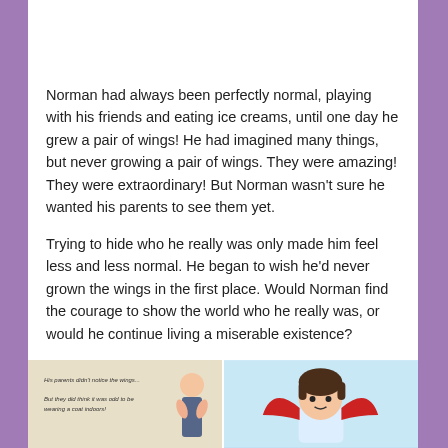[Figure (photo): Top portion of a photo showing a dark carpet/surface with a red object partially visible at the top edge]
Norman had always been perfectly normal, playing with his friends and eating ice creams, until one day he grew a pair of wings! He had imagined many things, but never growing a pair of wings. They were amazing! They were extraordinary! But Norman wasn't sure he wanted his parents to see them yet.
Trying to hide who he really was only made him feel less and less normal. He began to wish he'd never grown the wings in the first place. Would Norman find the courage to show the world who he really was, or would he continue living a miserable existence?
[Figure (photo): Two photos side by side: left shows an open book page with italic text reading about parents not noticing the wings, right shows an illustrated character with brown hair and red wings against a blue background]